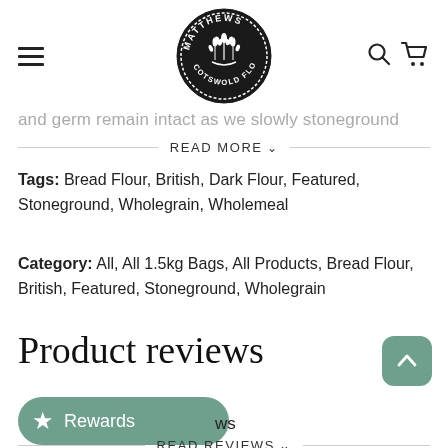[Figure (logo): Matthews Cotswold Flour circular badge logo with wheat stalks in the center, black on white, with navigation hamburger menu on left and search/cart icons on right]
and germ remain intact as we slowly stoneground
READ MORE ∨
Tags: Bread Flour, British, Dark Flour, Featured, Stoneground, Wholegrain, Wholemeal
Category: All, All 1.5kg Bags, All Products, Bread Flour, British, Featured, Stoneground, Wholegrain
Product reviews
Rewards
READ REVIEWS ∨